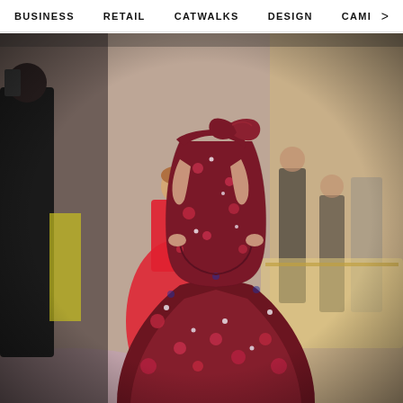BUSINESS   RETAIL   CATWALKS   DESIGN   CAMI   >
[Figure (photo): A model wearing an off-shoulder deep red/burgundy floral brocade mermaid gown with sequin details, standing at what appears to be a fashion event or showcase. In the background, another model in a bright red strapless ball gown is visible, along with blurred figures of attendees and event lighting.]